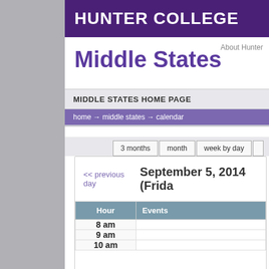HUNTER COLLEGE
About Hunter
Middle States
MIDDLE STATES HOME PAGE
home → middle states → calendar
3 months   month   week by day
<< previous day   September 5, 2014 (Friday)
| Hour | Events |
| --- | --- |
| 8 am |  |
| 9 am |  |
| 10 am |  |